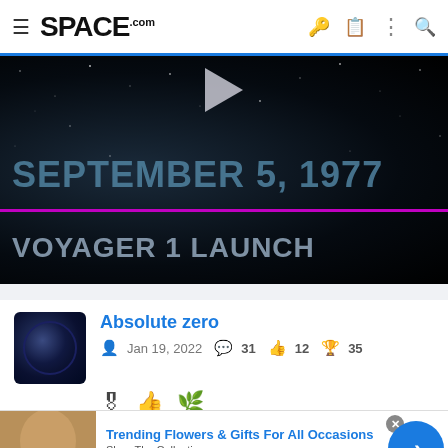SPACE.com
[Figure (screenshot): Video banner showing 'SEPTEMBER 5, 1977 – VOYAGER 1 LAUNCH' on a dark starfield background with a play button triangle at top center and a purple horizontal dividing line.]
Absolute zero — Jan 19, 2022 — 31 messages — 12 likes — 35 trophies
[Figure (infographic): Advertisement banner for 1800flowers.com: 'Trending Flowers & Gifts For All Occasions – Shop The Collection – www.1800flowers.com' with photo of woman holding flowers and blue arrow button.]